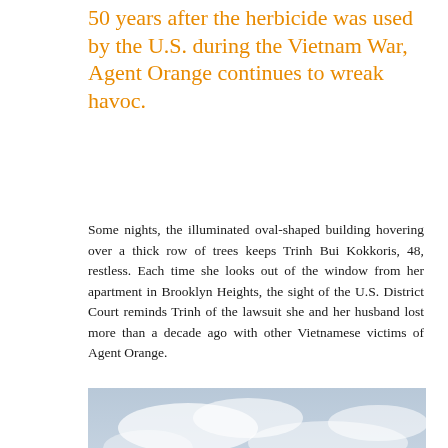50 years after the herbicide was used by the U.S. during the Vietnam War, Agent Orange continues to wreak havoc.
Some nights, the illuminated oval-shaped building hovering over a thick row of trees keeps Trinh Bui Kokkoris, 48, restless. Each time she looks out of the window from her apartment in Brooklyn Heights, the sight of the U.S. District Court reminds Trinh of the lawsuit she and her husband lost more than a decade ago with other Vietnamese victims of Agent Orange.
[Figure (photo): Two figures wearing gas masks and protective suits, one holding a long stick or tool, photographed against a cloudy sky.]